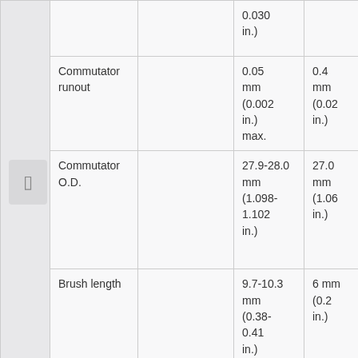|  |  |  | Standard | Limit |
| --- | --- | --- | --- | --- |
| [icon] |  |  | 0.030 in. |  |
|  | Commutator runout |  | 0.05 mm (0.002 in.) max. | 0.4 mm (0.02 in.) |
|  | Commutator O.D. |  | 27.9-28.0 mm (1.098-1.102 in.) | 27.0 mm (1.06 in.) |
|  | Brush length |  | 9.7-10.3 mm (0.38-0.41 in.) | 6 mm (0.2 in.) |